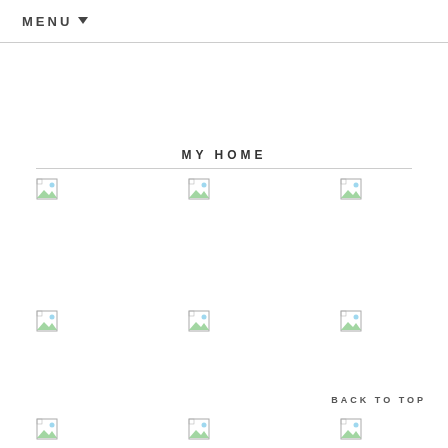MENU ▾
MY HOME
[Figure (other): Grid of 9 broken image placeholder icons arranged in 3 columns and 3 rows]
BACK TO TOP